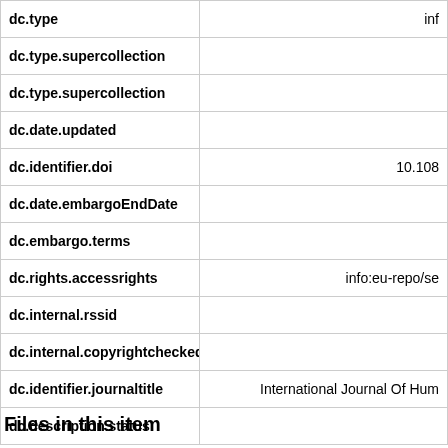| Field | Value |
| --- | --- |
| dc.type | inf |
| dc.type.supercollection |  |
| dc.type.supercollection |  |
| dc.date.updated |  |
| dc.identifier.doi | 10.108 |
| dc.date.embargoEndDate |  |
| dc.embargo.terms |  |
| dc.rights.accessrights | info:eu-repo/se |
| dc.internal.rssid |  |
| dc.internal.copyrightchecked |  |
| dc.identifier.journaltitle | International Journal Of Hum |
| dc.description.status |  |
Files in this item